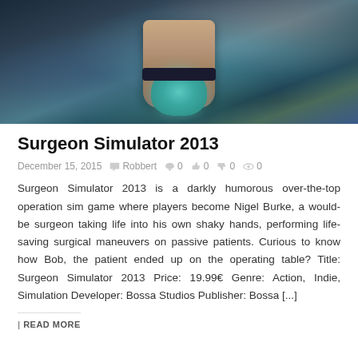[Figure (illustration): A stylized video game screenshot showing a person's arm/hand reaching down toward a teal/cyan alien or patient character on an operating table, with a dark sci-fi aesthetic and glowing elements. The surgeon's wrist has a black wristband.]
Surgeon Simulator 2013
December 15, 2015   Robbert   0  0  0  0
Surgeon Simulator 2013 is a darkly humorous over-the-top operation sim game where players become Nigel Burke, a would-be surgeon taking life into his own shaky hands, performing life-saving surgical maneuvers on passive patients. Curious to know how Bob, the patient ended up on the operating table? Title: Surgeon Simulator 2013 Price: 19.99€ Genre: Action, Indie, Simulation Developer: Bossa Studios Publisher: Bossa [...]
| READ MORE